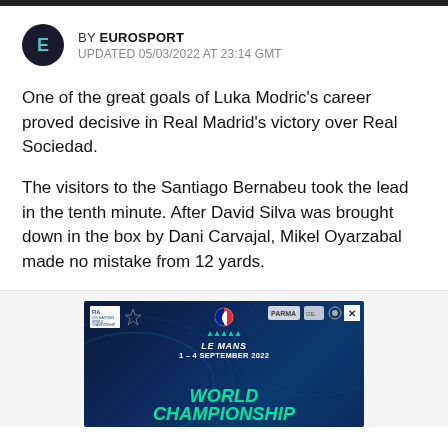BY EUROSPORT
UPDATED 05/03/2022 AT 23:14 GMT
One of the great goals of Luka Modric's career proved decisive in Real Madrid's victory over Real Sociedad.
The visitors to the Santiago Bernabeu took the lead in the tenth minute. After David Silva was brought down in the box by Dani Carvajal, Mikel Oyarzabal made no mistake from 12 yards.
[Figure (infographic): FIA Karting World Championship advertisement banner: LE MANS 1–4 SEPTEMBER 2022 WORLD CHAMPIONSHIP]